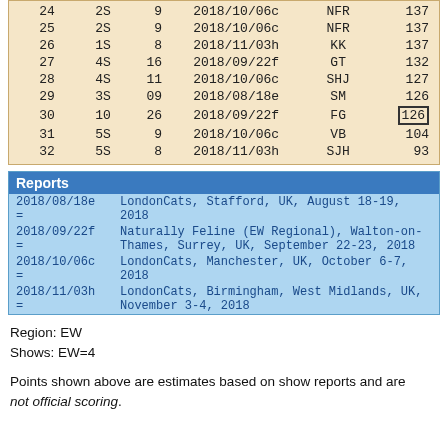| # | Class | Count | Show | Judge | Points |
| --- | --- | --- | --- | --- | --- |
| 24 | 2S | 9 | 2018/10/06c | NFR | 137 |
| 25 | 2S | 9 | 2018/10/06c | NFR | 137 |
| 26 | 1S | 8 | 2018/11/03h | KK | 137 |
| 27 | 4S | 16 | 2018/09/22f | GT | 132 |
| 28 | 4S | 11 | 2018/10/06c | SHJ | 127 |
| 29 | 3S | 09 | 2018/08/18e | SM | 126 |
| 30 | 10 | 26 | 2018/09/22f | FG | 126 |
| 31 | 5S | 9 | 2018/10/06c | VB | 104 |
| 32 | 5S | 8 | 2018/11/03h | SJH | 93 |
| Code | Description |
| --- | --- |
| 2018/08/18e = | LondonCats, Stafford, UK, August 18-19, 2018 |
| 2018/09/22f = | Naturally Feline (EW Regional), Walton-on-Thames, Surrey, UK, September 22-23, 2018 |
| 2018/10/06c = | LondonCats, Manchester, UK, October 6-7, 2018 |
| 2018/11/03h = | LondonCats, Birmingham, West Midlands, UK, November 3-4, 2018 |
Region: EW
Shows: EW=4
Points shown above are estimates based on show reports and are not official scoring.